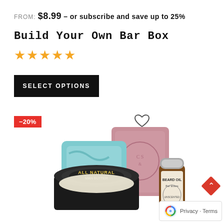FROM: $8.99 – or subscribe and save up to 25%
Build Your Own Bar Box
[Figure (other): Five gold/yellow star rating icons]
[Figure (other): Black button with white uppercase text SELECT OPTIONS]
[Figure (other): Red discount badge showing -20%]
[Figure (other): Heart/wishlist outline icon]
[Figure (photo): Product photo showing soap bars (blue and pink), an All Natural bar butter tin, and a Beard Oil bottle with silver cap]
[Figure (other): Red diamond scroll-to-top button with up arrow, and Google reCAPTCHA privacy badge with Privacy and Terms links]